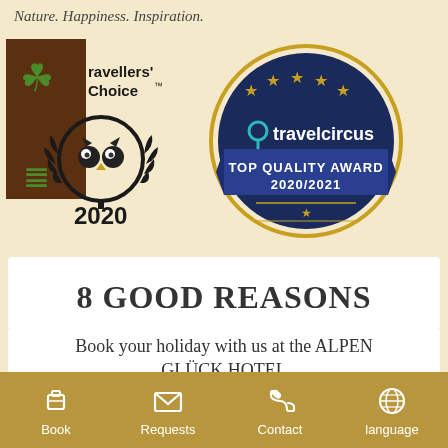Nature. Happiness. Inspiration.
[Figure (logo): TripAdvisor Travellers' Choice 2020 badge with owl logo and laurel wreath]
[Figure (logo): Travelcircus Top Quality Award 2020/2021 badge with stars on dark blue circular seal]
8 GOOD REASONS
Book your holiday with us at the ALPEN GLÜCK HOTEL
Book  Requests  Contact  language